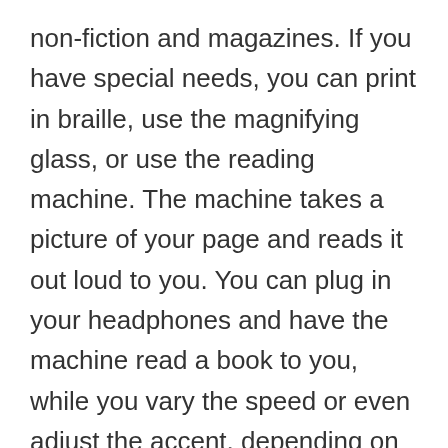non-fiction and magazines. If you have special needs, you can print in braille, use the magnifying glass, or use the reading machine. The machine takes a picture of your page and reads it out loud to you. You can plug in your headphones and have the machine read a book to you, while you vary the speed or even adjust the accent, depending on what part of the world you are from. Pretty impressive!
But the best part of Nyaal is the sound dampening chairs overlooking Johnstone Park. The sound dampeners are built in to the chair and extend forward to block out peripheral